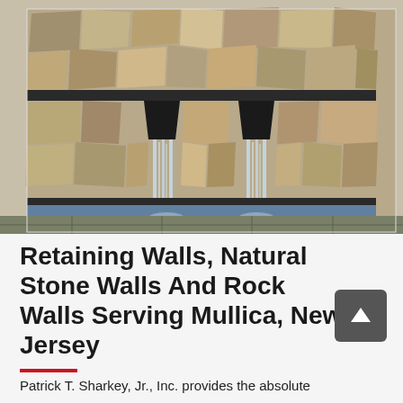[Figure (photo): A stone retaining wall with two black waterfall spouts cascading water down into a basin. The wall is constructed of irregular natural stone pieces in tan, grey, and brown tones. A paved stone patio area is visible at the base.]
Retaining Walls, Natural Stone Walls And Rock Walls Serving Mullica, New Jersey
Patrick T. Sharkey, Jr., Inc. provides the absolute